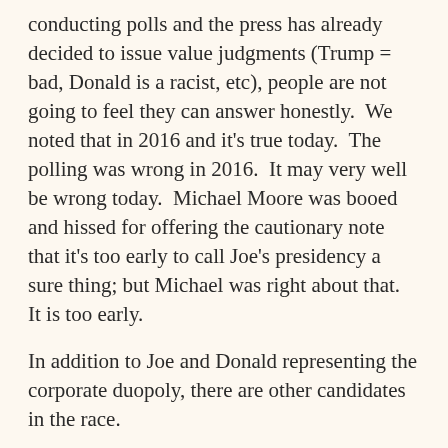conducting polls and the press has already decided to issue value judgments (Trump = bad, Donald is a racist, etc), people are not going to feel they can answer honestly.  We noted that in 2016 and it's true today.  The polling was wrong in 2016.  It may very well be wrong today.  Michael Moore was booed and hissed for offering the cautionary note that it's too early to call Joe's presidency a sure thing; but Michael was right about that.  It is too early.
In addition to Joe and Donald representing the corporate duopoly, there are other candidates in the race.
Gloria La Riva is the presidential candidate from the Party for Liberation and Socialism.
While Joe bumbles around in a daze, Gloria's